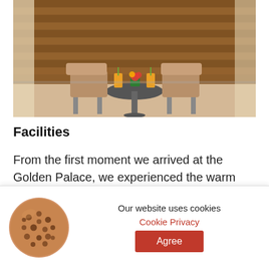[Figure (photo): Outdoor terrace or balcony seating area with two wicker/rattan chairs and a round table, orange juice drinks and a small potted flower on the table, wooden slatted wall in background.]
Facilities
From the first moment we arrived at the Golden Palace, we experienced the warm hospitality of the hotel. Marco and the rest of the staff greeted us with smiles and made us feel very welcome. They helped us with everything we needed and gave us some tips on
[Figure (illustration): Cookie illustration — a round chocolate chip cookie]
Our website uses cookies
Cookie Privacy
Agree